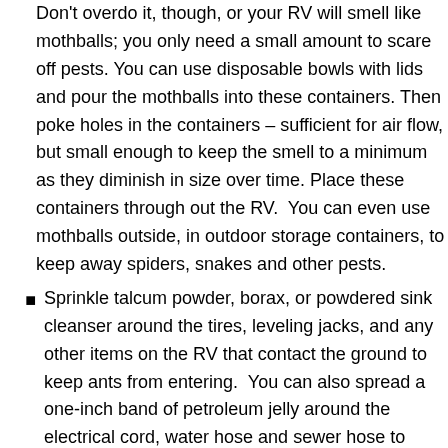Don't overdo it, though, or your RV will smell like mothballs; you only need a small amount to scare off pests. You can use disposable bowls with lids and pour the mothballs into these containers. Then poke holes in the containers – sufficient for air flow, but small enough to keep the smell to a minimum as they diminish in size over time. Place these containers through out the RV.  You can even use mothballs outside, in outdoor storage containers, to keep away spiders, snakes and other pests.
Sprinkle talcum powder, borax, or powdered sink cleanser around the tires, leveling jacks, and any other items on the RV that contact the ground to keep ants from entering.  You can also spread a one-inch band of petroleum jelly around the electrical cord, water hose and sewer hose to discourage ants from becoming RV